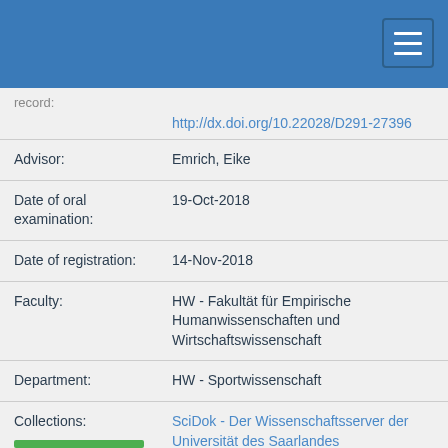Navigation header bar with hamburger menu
| Field | Value |
| --- | --- |
|  | http://dx.doi.org/10.22028/D291-27396 |
| Advisor: | Emrich, Eike |
| Date of oral examination: | 19-Oct-2018 |
| Date of registration: | 14-Nov-2018 |
| Faculty: | HW - Fakultät für Empirische Humanwissenschaften und Wirtschaftswissenschaft |
| Department: | HW - Sportwissenschaft |
| Collections: | SciDok - Der Wissenschaftsserver der Universität des Saarlandes |